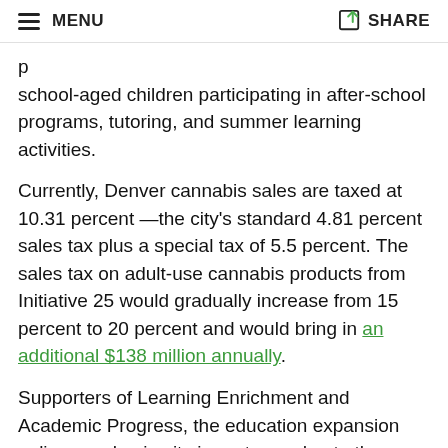MENU   SHARE
school-aged children participating in after-school programs, tutoring, and summer learning activities.
Currently, Denver cannabis sales are taxed at 10.31 percent —the city's standard 4.81 percent sales tax plus a special tax of 5.5 percent. The sales tax on adult-use cannabis products from Initiative 25 would gradually increase from 15 percent to 20 percent and would bring in an additional $138 million annually.
Supporters of Learning Enrichment and Academic Progress, the education expansion policy, emphasize its importance due to the exacerbating negative